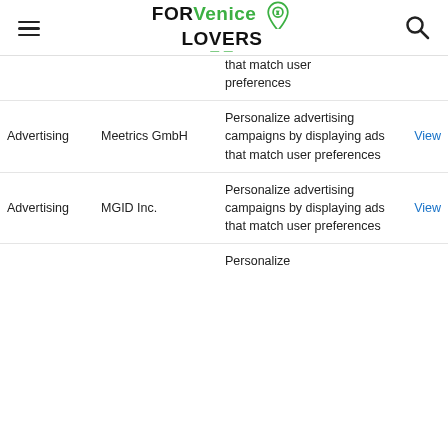FORVenice LOVERS
| Category | Company | Description | Link |
| --- | --- | --- | --- |
| Advertising | Meetrics GmbH | Personalize advertising campaigns by displaying ads that match user preferences | View |
| Advertising | MGID Inc. | Personalize advertising campaigns by displaying ads that match user preferences | View |
| Advertising |  | Personalize... |  |